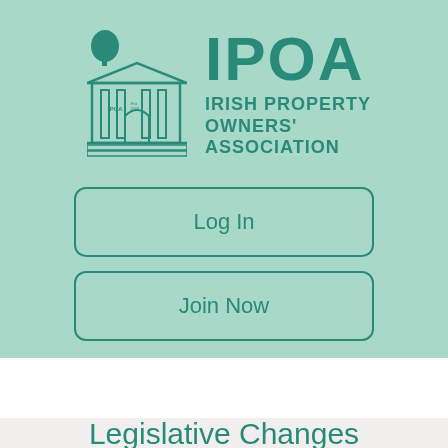[Figure (logo): IPOA Irish Property Owners' Association logo with building illustration and text]
Log In
Join Now
Menu ≡
Legislative Changes